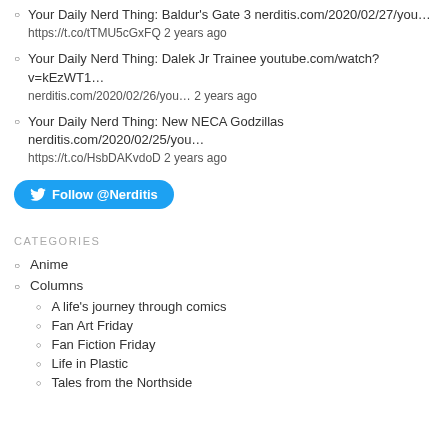Your Daily Nerd Thing: Baldur's Gate 3 nerditis.com/2020/02/27/you… https://t.co/tTMU5cGxFQ 2 years ago
Your Daily Nerd Thing: Dalek Jr Trainee youtube.com/watch?v=kEzWT1… nerditis.com/2020/02/26/you… 2 years ago
Your Daily Nerd Thing: New NECA Godzillas nerditis.com/2020/02/25/you… https://t.co/HsbDAKvdoD 2 years ago
[Figure (other): Twitter Follow @Nerditis button]
CATEGORIES
Anime
Columns
A life's journey through comics
Fan Art Friday
Fan Fiction Friday
Life in Plastic
Tales from the Northside